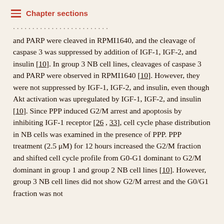Chapter sections
and PARP were cleaved in RPMI1640, and the cleavage of caspase 3 was suppressed by addition of IGF-1, IGF-2, and insulin [10]. In group 3 NB cell lines, cleavages of caspase 3 and PARP were observed in RPMI1640 [10]. However, they were not suppressed by IGF-1, IGF-2, and insulin, even though Akt activation was upregulated by IGF-1, IGF-2, and insulin [10]. Since PPP induced G2/M arrest and apoptosis by inhibiting IGF-1 receptor [26, 33], cell cycle phase distribution in NB cells was examined in the presence of PPP. PPP treatment (2.5 μM) for 12 hours increased the G2/M fraction and shifted cell cycle profile from G0-G1 dominant to G2/M dominant in group 1 and group 2 NB cell lines [10]. However, group 3 NB cell lines did not show G2/M arrest and the G0/G1 fraction was not